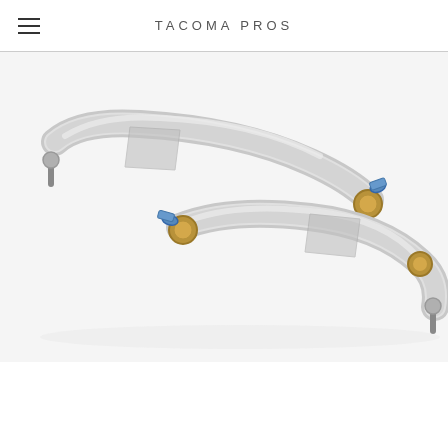TACOMA PROS
[Figure (photo): Two silver aluminum upper control arms with gold/brass colored ball joints and blue anodized fittings, displayed on white background. The arms have a curved tubular shape with mounting hardware at each end.]